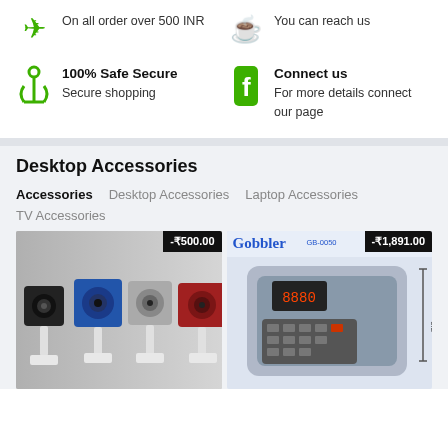On all order over 500 INR
You can reach us
100% Safe Secure
Secure shopping
Connect us
For more details connect our page
Desktop Accessories
Accessories
Desktop Accessories
Laptop Accessories
TV Accessories
[Figure (photo): Four small square webcams/speakers in black, blue, grey, red colors on clear stands]
-₹500.00
[Figure (photo): Gobbler brand currency counting machine, silver and black colored]
-₹1,891.00